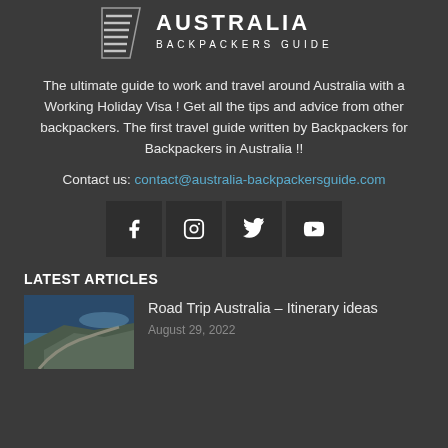[Figure (logo): Australia Backpackers Guide logo with diagonal stripe graphic and text]
The ultimate guide to work and travel around Australia with a Working Holiday Visa ! Get all the tips and advice from other backpackers. The first travel guide written by Backpackers for Backpackers in Australia !!
Contact us: contact@australia-backpackersguide.com
[Figure (infographic): Four social media icon buttons: Facebook, Instagram, Twitter, YouTube]
LATEST ARTICLES
[Figure (photo): Aerial coastal road trip photo showing winding road along cliffs and ocean]
Road Trip Australia – Itinerary ideas
August 29, 2022